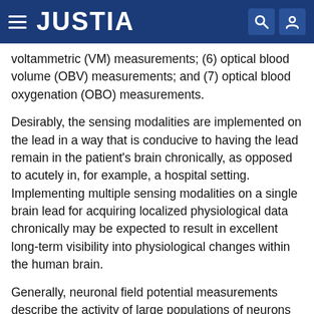JUSTIA
voltammetric (VM) measurements; (6) optical blood volume (OBV) measurements; and (7) optical blood oxygenation (OBO) measurements.
Desirably, the sensing modalities are implemented on the lead in a way that is conducive to having the lead remain in the patient's brain chronically, as opposed to acutely in, for example, a hospital setting. Implementing multiple sensing modalities on a single brain lead for acquiring localized physiological data chronically may be expected to result in excellent long-term visibility into physiological changes within the human brain.
Generally, neuronal field potential measurements describe the activity of large populations of neurons near the sensing electrodes. This activity may be used to detect pathological neurological events such as epileptic